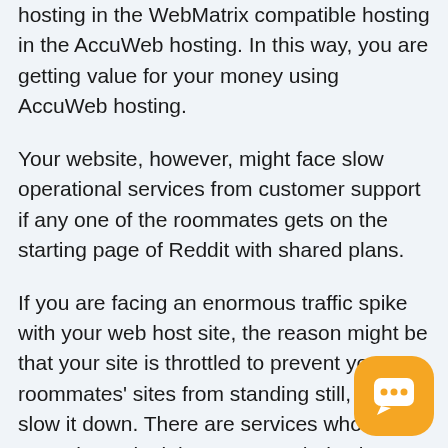hosting in the WebMatrix compatible hosting in the AccuWeb hosting. In this way, you are getting value for your money using AccuWeb hosting.
Your website, however, might face slow operational services from customer support if any one of the roommates gets on the starting page of Reddit with shared plans.
If you are facing an enormous traffic spike with your web host site, the reason might be that your site is throttled to prevent your roommates' sites from standing still, so they slow it down. There are services whose control panel might even get whole site offline if the shared hosting traffic suddenly goes out of the user's hands.
[Figure (illustration): Orange rounded square chat bubble icon with three dots indicating a chat/messaging widget]